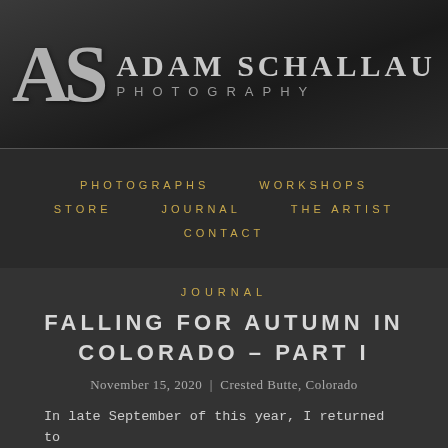[Figure (logo): Adam Schallau Photography logo with stylized 'AS' monogram in silver/grey on dark textured background, with name in large uppercase serif letters and 'PHOTOGRAPHY' in spaced sans-serif below]
PHOTOGRAPHS   WORKSHOPS   STORE   JOURNAL   THE ARTIST   CONTACT
JOURNAL
FALLING FOR AUTUMN IN COLORADO – PART I
November 15, 2020  |  Crested Butte, Colorado
In late September of this year, I returned to Colorado to spend time amongst the mountains